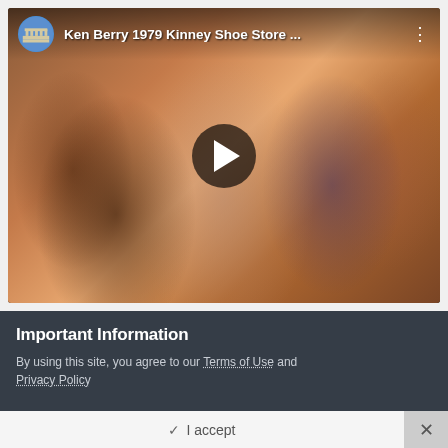[Figure (screenshot): YouTube video thumbnail showing a 1979 Ken Berry Kinney Shoe Store commercial. The thumbnail shows people dancing/socializing in a retro setting. The video player shows a play button overlay, channel icon (classical building), video title 'Ken Berry 1979 Kinney Shoe Store ...' and a three-dot menu icon.]
Important Information
By using this site, you agree to our Terms of Use and Privacy Policy
✓ I accept